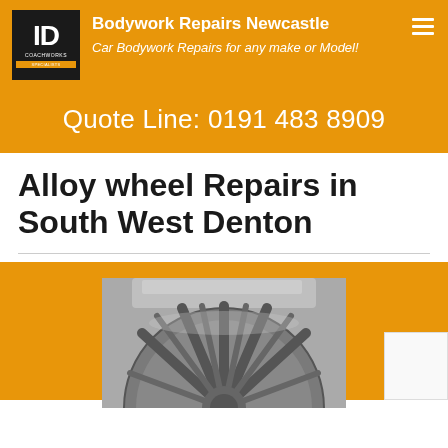Bodywork Repairs Newcastle — Car Bodywork Repairs for any make or Model!
Quote Line: 0191 483 8909
Alloy wheel Repairs in South West Denton
[Figure (photo): Photograph of an alloy wheel, partially visible showing spoke detail, placed against a metallic/grey background with plastic wrapping visible.]